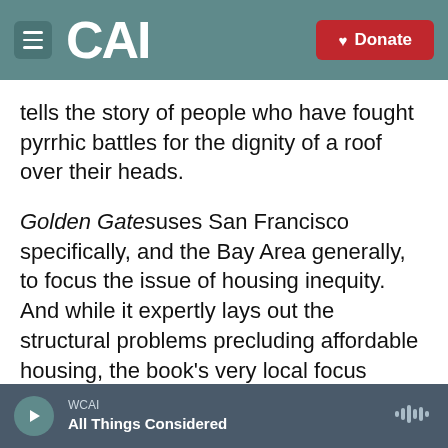CAI — Donate
tells the story of people who have fought pyrrhic battles for the dignity of a roof over their heads.
Golden Gates uses San Francisco specifically, and the Bay Area generally, to focus the issue of housing inequity. And while it expertly lays out the structural problems precluding affordable housing, the book's very local focus makes it seem too much about just the housing tragedy of the Bay Area. It faintly acts as an allegory of the national housing crisis — but you have to remind yourself continually that this is the case. It often evokes nostalgia, as if a love letter to a bygone Bay Area now struggling to
WCAI
All Things Considered